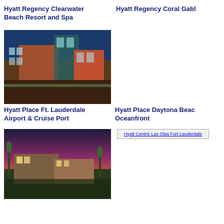Hyatt Regency Clearwater Beach Resort and Spa
Hyatt Regency Coral Gables
[Figure (photo): Exterior photo of Hyatt Place Ft. Lauderdale Airport & Cruise Port hotel building at dusk with blue sky]
[Figure (photo): Broken/missing image placeholder for Hyatt Place Daytona Beach Oceanfront]
Hyatt Place Ft. Lauderdale Airport & Cruise Port
Hyatt Place Daytona Beach Oceanfront
[Figure (photo): Exterior photo of Hyatt Place hotel at sunset with palm trees and dramatic sky]
[Figure (photo): Broken/missing image placeholder for Hyatt Centric Las Olas Fort Lauderdale]